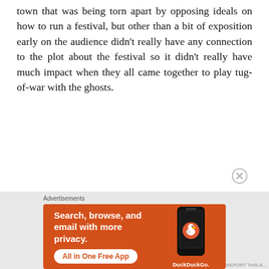town that was being torn apart by opposing ideals on how to run a festival, but other than a bit of exposition early on the audience didn't really have any connection to the plot about the festival so it didn't really have much impact when they all came together to play tug-of-war with the ghosts.
[Figure (screenshot): DuckDuckGo advertisement banner with orange background. Text reads: 'Search, browse, and email with more privacy. All in One Free App' with a smartphone image and DuckDuckGo logo/branding.]